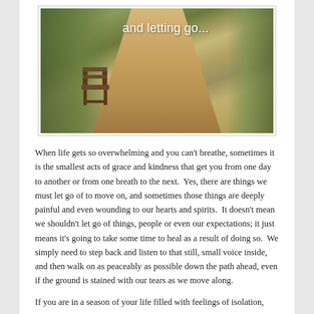[Figure (photo): A photograph of a stone path receding into the distance, flanked by green foliage, with a wooden chair placed on the left side of the path. White handwritten-style text overlays the image reading 'and letting go...']
When life gets so overwhelming and you can't breathe, sometimes it is the smallest acts of grace and kindness that get you from one day to another or from one breath to the next.  Yes, there are things we must let go of to move on, and sometimes those things are deeply painful and even wounding to our hearts and spirits.  It doesn't mean we shouldn't let go of things, people or even our expectations; it just means it's going to take some time to heal as a result of doing so.  We simply need to step back and listen to that still, small voice inside, and then walk on as peaceably as possible down the path ahead, even if the ground is stained with our tears as we move along.
If you are in a season of your life filled with feelings of isolation,